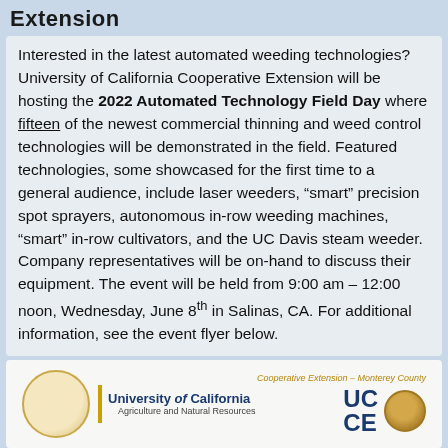Extension
Interested in the latest automated weeding technologies? University of California Cooperative Extension will be hosting the 2022 Automated Technology Field Day where fifteen of the newest commercial thinning and weed control technologies will be demonstrated in the field. Featured technologies, some showcased for the first time to a general audience, include laser weeders, “smart” precision spot sprayers, autonomous in-row weeding machines, “smart” in-row cultivators, and the UC Davis steam weeder. Company representatives will be on-hand to discuss their equipment. The event will be held from 9:00 am – 12:00 noon, Wednesday, June 8th in Salinas, CA. For additional information, see the event flyer below.
[Figure (logo): University of California Agriculture and Natural Resources logo on the left, and Cooperative Extension – Monterey County UCCE logo with medallion on the right]